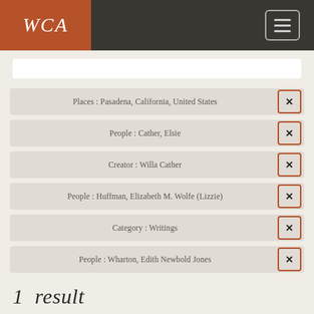WCA
Places : Pasadena, California, United States
People : Cather, Elsie
Creator : Willa Cather
People : Huffman, Elizabeth M. Wolfe (Lizzie)
Category : Writings
People : Wharton, Edith Newbold Jones
1 result